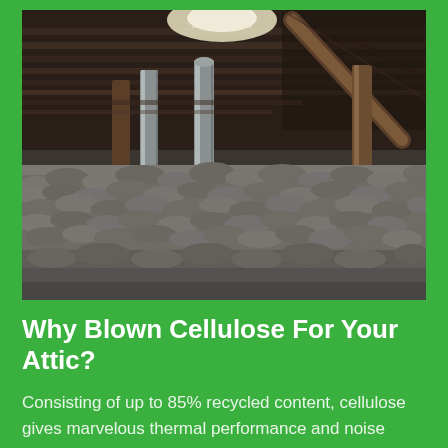[Figure (photo): Interior photograph of an attic filled with blown cellulose insulation. The gray fibrous material covers the attic floor. Structural wooden roof rafters and metal ductwork pipes are visible above. Natural light comes through small openings.]
Why Blown Cellulose For Your Attic?
Consisting of up to 85% recycled content, cellulose gives marvelous thermal performance and noise control due to its